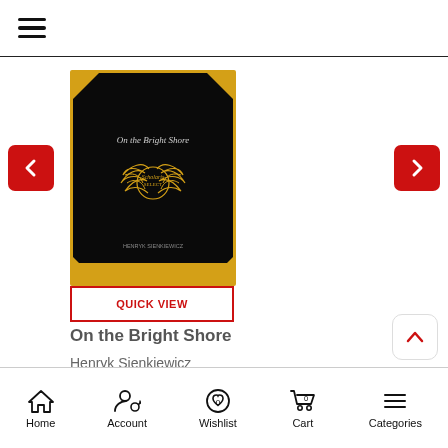[Figure (screenshot): Hamburger menu icon (three horizontal lines) in top-left of navigation bar]
[Figure (illustration): Book cover for 'On the Bright Shore' by Henryk Sienkiewicz — black cover with gold border, gold wreath emblem, and gold corner accents]
QUICK VIEW
On the Bright Shore
Henryk Sienkiewicz
Rs.1,215
Home   Account   Wishlist   Cart   Categories